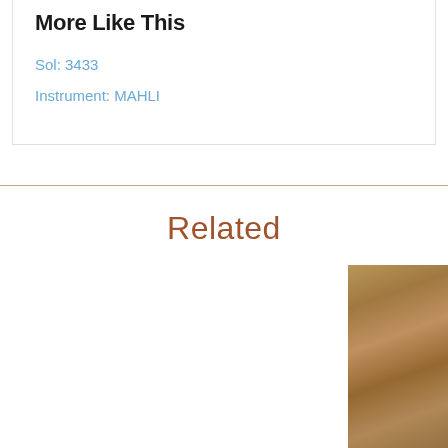More Like This
Sol: 3433
Instrument: MAHLI
Related
[Figure (photo): Mars surface texture photograph showing sandy/rocky terrain in brown and tan tones, partially visible on the right edge of the page.]